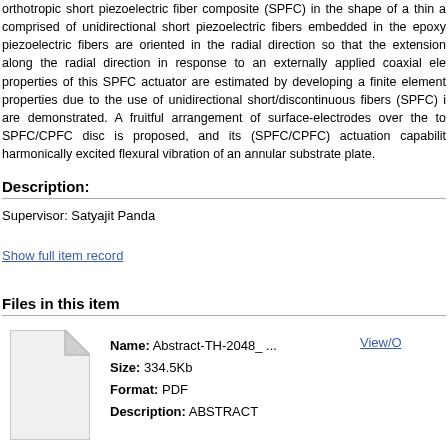orthotropic short piezoelectric fiber composite (SPFC) in the shape of a thin a comprised of unidirectional short piezoelectric fibers embedded in the epoxy piezoelectric fibers are oriented in the radial direction so that the extension along the radial direction in response to an externally applied coaxial ele properties of this SPFC actuator are estimated by developing a finite element properties due to the use of unidirectional short/discontinuous fibers (SPFC) i are demonstrated. A fruitful arrangement of surface-electrodes over the to SPFC/CPFC disc is proposed, and its (SPFC/CPFC) actuation capability harmonically excited flexural vibration of an annular substrate plate.
Description:
Supervisor: Satyajit Panda
Show full item record
Files in this item
[Figure (illustration): Generic document/file icon — white paper with folded top-right corner]
Name: Abstract-TH-2048_ ...
Size: 334.5Kb
Format: PDF
Description: ABSTRACT